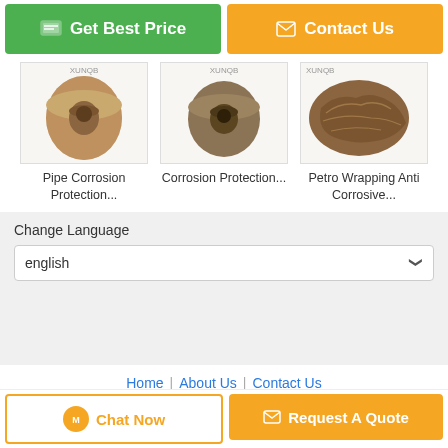[Figure (screenshot): Two call-to-action buttons: green 'Get Best Price' and orange 'Contact Us']
[Figure (photo): Three product images showing corrosion protection pipe wrap tape rolls]
Pipe Corrosion Protection...
Corrosion Protection...
Petro Wrapping Anti Corrosive...
Change Language
english
Home | About Us | Contact Us
Desktop View
China wrapping coating tape Supplier. Copyright © 2018 - 2022 corrosionresistanttape.com. All rights reserved. Developed by ECER
[Figure (screenshot): Two bottom buttons: 'Chat Now' and 'Request A Quote']